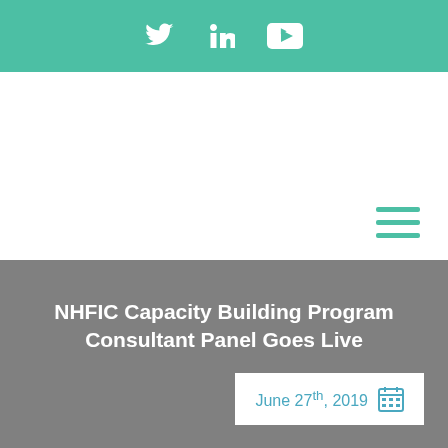[Figure (other): Green top navigation bar with Twitter, LinkedIn, and YouTube social media icons in white]
[Figure (other): White area with teal/green hamburger menu icon in the bottom right corner]
NHFIC Capacity Building Program Consultant Panel Goes Live
June 27th, 2019